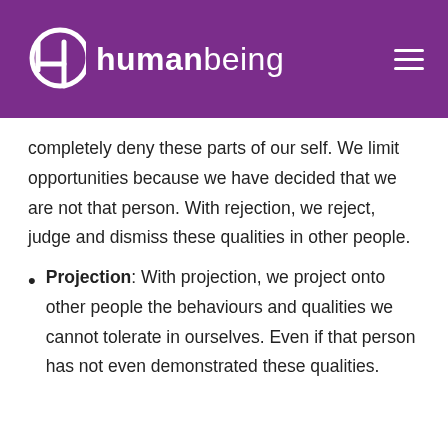4D humanbeing
completely deny these parts of our self. We limit opportunities because we have decided that we are not that person. With rejection, we reject, judge and dismiss these qualities in other people.
Projection: With projection, we project onto other people the behaviours and qualities we cannot tolerate in ourselves. Even if that person has not even demonstrated these qualities.